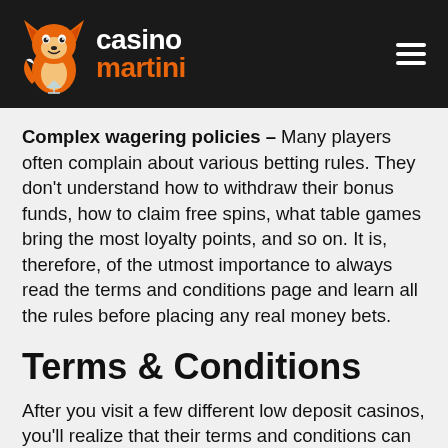casino martini
Complex wagering policies – Many players often complain about various betting rules. They don't understand how to withdraw their bonus funds, how to claim free spins, what table games bring the most loyalty points, and so on. It is, therefore, of the utmost importance to always read the terms and conditions page and learn all the rules before placing any real money bets.
Terms & Conditions
After you visit a few different low deposit casinos, you'll realize that their terms and conditions can vary quite a bit. This is especially true for bonus spins, deposit methods, and wagering rules. However, it's always good to know what things you should pay attention to. Some of